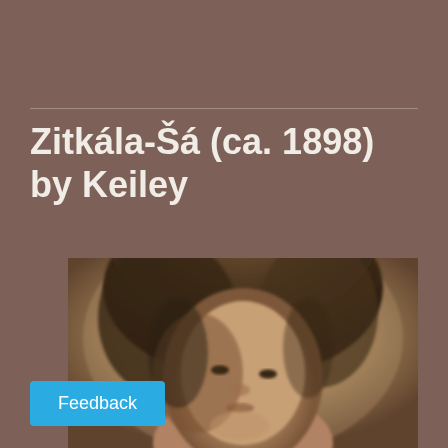Zitkála-Šá (ca. 1898) by Keiley
[Figure (photo): Sepia-toned historical portrait photograph of Zitkála-Šá, a Native American woman, showing her face and upper shoulders in soft focus, circa 1898, by photographer Keiley.]
Feedback